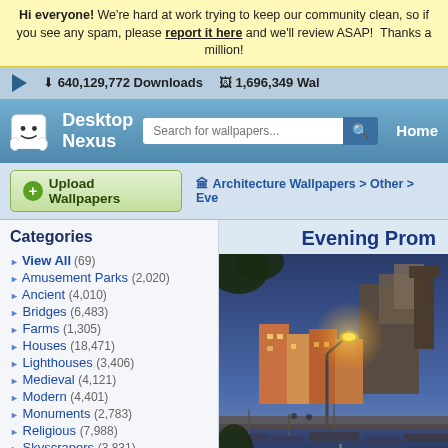Hi everyone! We're hard at work trying to keep our community clean, so if you see any spam, please report it here and we'll review ASAP!  Thanks a million!
640,129,772 Downloads   1,696,349 Wal
[Figure (logo): Desktop Nexus logo with white ghost mascot and text 'Desktop Nexus']
Search for wallpapers...  Home
Upload Wallpapers   Architecture Wallpapers > Other > Eve
Categories
View All (69)
Amusement Parks (2,020)
Ancient (4,010)
Bridges (6,483)
Farms (1,305)
Houses (18,471)
Lighthouses (3,406)
Medieval (4,121)
Modern (4,401)
Monuments (2,783)
Religious (7,988)
Skyscrapers (3,831)
Other (15,571)
Evening Prom
[Figure (photo): Evening photo of a European coastal town (likely Cinque Terre / Lerici, Italy) with a glowing street lamp, colorful buildings, harbor with boats, dramatic blue twilight sky]